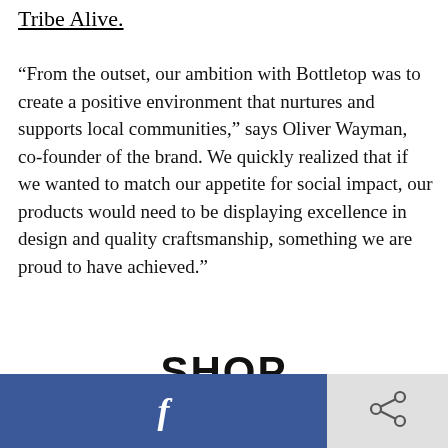Tribe Alive.
“From the outset, our ambition with Bottletop was to create a positive environment that nurtures and supports local communities,” says Oliver Wayman, co-founder of the brand. We quickly realized that if we wanted to match our appetite for social impact, our products would need to be displaying excellence in design and quality craftsmanship, something we are proud to have achieved.”
SHOP
[Figure (infographic): Social sharing buttons: Facebook button on the left (blue background with white f icon) and a share/network icon button on the right (grey background)]